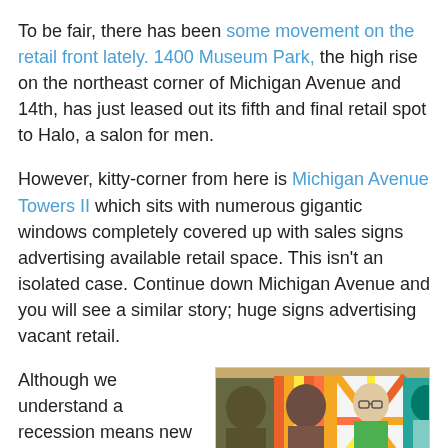To be fair, there has been some movement on the retail front lately. 1400 Museum Park, the high rise on the northeast corner of Michigan Avenue and 14th, has just leased out its fifth and final retail spot to Halo, a salon for men.
However, kitty-corner from here is Michigan Avenue Towers II which sits with numerous gigantic windows completely covered up with sales signs advertising available retail space. This isn't an isolated case. Continue down Michigan Avenue and you will see a similar story; huge signs advertising vacant retail.
Although we understand a recession means new businesses aren't popping up as frequently, today we were tipped by AK (a reader of the site) to a story by
[Figure (photo): People holding up colorful portrait paintings in an indoor gallery or exhibition space. Multiple large, vibrant paintings of faces and figures are visible.]